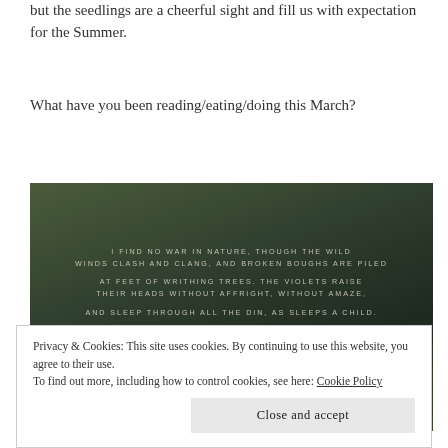but the seedlings are a cheerful sight and fill us with expectation for the Summer.
What have you been reading/eating/doing this March?
[Figure (photo): Dark nature background with poem text overlay: 'I FIND NO WAR IN NATURE, THOUGH THE WILD WINDS CLASH AND CLANG, AND BROKEN BOUGHS ARE PILED AT FEET OF WRITHING TREES. THE VIOLETS RAISE THEIR HEADS WITHOUT AFFRIGHT, WITHOUT AMAZE, AND SLEEP THROUGH ALL THE DIN, AS SLEEPS A CHILD. AND HE WHO WATCHES WELL MAY WELL DISCERN SWEET EXPECTATION IN EACH LIVING THING.']
Privacy & Cookies: This site uses cookies. By continuing to use this website, you agree to their use.
To find out more, including how to control cookies, see here: Cookie Policy
Close and accept